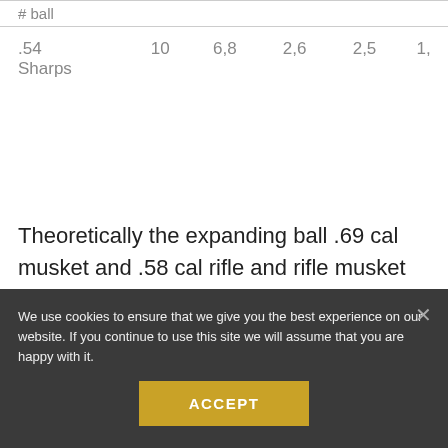| # ball |  |  |  |  |  |
| .54 Sharps | 10 | 6,8 | 2,6 | 2,5 | 1, |
Theoretically the expanding ball .69 cal musket and .58 cal rifle and rifle musket cartridges had ordinary colour wrappers, the .58 cal cadet rifle shooting a lighter recoil cartridge with decreased powder charge and bullet wait had red colour wrapper, the
We use cookies to ensure that we give you the best experience on our website. If you continue to use this site we will assume that you are happy with it.